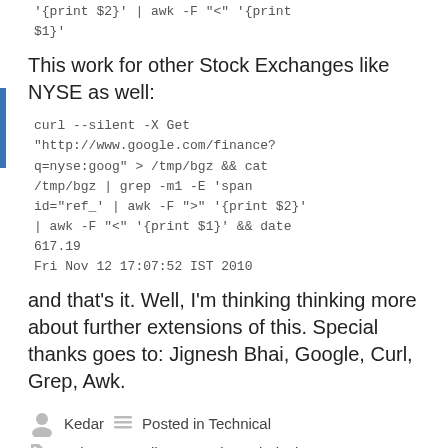'{print $2}' | awk -F "<" '{print $1}'
This work for other Stock Exchanges like NYSE as well:
curl --silent -X Get "http://www.google.com/finance?q=nyse:goog" > /tmp/bgz && cat /tmp/bgz | grep -m1 -E 'span id="ref_' | awk -F ">" '{print $2}' | awk -F "<" '{print $1}' && date
617.19
Fri Nov 12 17:07:52 IST 2010
and that’s it. Well, I’m thinking thinking more about further extensions of this. Special thanks goes to: Jignesh Bhai, Google, Curl, Grep, Awk.
Kedar   Posted in Technical
Curl, How-To, linux, Stock, Technical
3 Comments